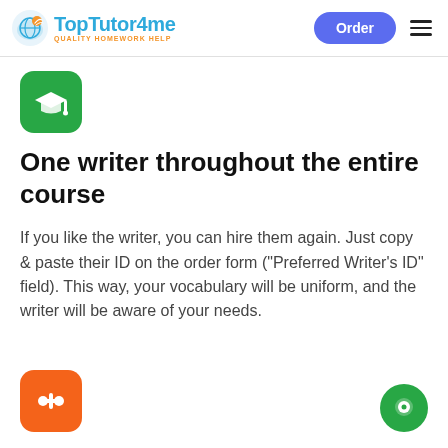TopTutor4me — QUALITY HOMEWORK HELP | Order
[Figure (logo): TopTutor4me logo with globe/feather icon, blue text 'TopTutor4me', orange subtitle 'QUALITY HOMEWORK HELP']
[Figure (illustration): Green rounded square icon with white graduation cap symbol]
One writer throughout the entire course
If you like the writer, you can hire them again. Just copy & paste their ID on the order form ("Preferred Writer's ID" field). This way, your vocabulary will be uniform, and the writer will be aware of your needs.
[Figure (illustration): Orange rounded square icon with white dumbbell/add symbol]
[Figure (illustration): Green circle chat button icon on bottom right]